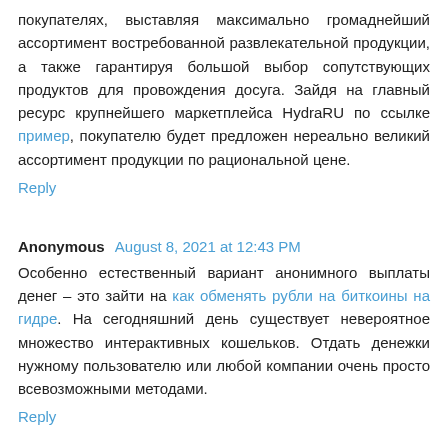покупателях, выставляя максимально громаднейший ассортимент востребованной развлекательной продукции, а также гарантируя большой выбор сопутствующих продуктов для провождения досуга. Зайдя на главный ресурс крупнейшего маркетплейса HydraRU по ссылке пример, покупателю будет предложен нереально великий ассортимент продукции по рациональной цене.
Reply
Anonymous August 8, 2021 at 12:43 PM
Особенно естественный вариант анонимного выплаты денег – это зайти на как обменять рубли на биткоины на гидре. На сегодняшний день существует невероятное множество интерактивных кошельков. Отдать денежки нужному пользователю или любой компании очень просто всевозможными методами.
Reply